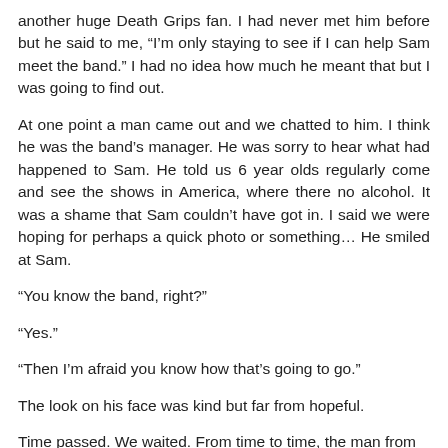another huge Death Grips fan. I had never met him before but he said to me, “I’m only staying to see if I can help Sam meet the band.” I had no idea how much he meant that but I was going to find out.
At one point a man came out and we chatted to him. I think he was the band’s manager. He was sorry to hear what had happened to Sam. He told us 6 year olds regularly come and see the shows in America, where there no alcohol. It was a shame that Sam couldn’t have got in. I said we were hoping for perhaps a quick photo or something… He smiled at Sam.
“You know the band, right?”
“Yes.”
“Then I’m afraid you know how that’s going to go.”
The look on his face was kind but far from hopeful.
Time passed. We waited. From time to time, the man from